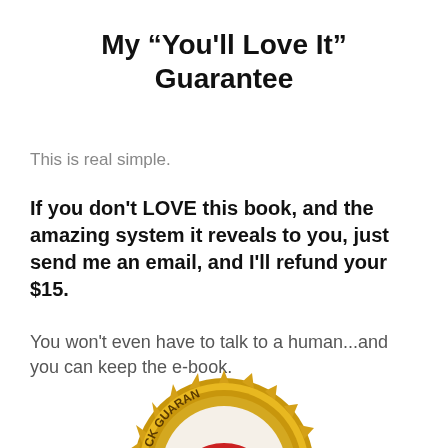My "You'll Love It" Guarantee
This is real simple.
If you don't LOVE this book, and the amazing system it reveals to you, just send me an email, and I'll refund your $15.
You won't even have to talk to a human...and you can keep the e-book.
[Figure (illustration): A gold and red money-back guarantee seal badge, partially cropped at the bottom of the page, showing text 'ACK GUARAN' visible on the gold rim.]